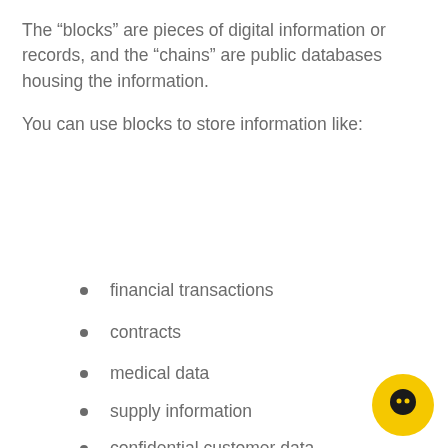The “blocks” are pieces of digital information or records, and the “chains” are public databases housing the information.
You can use blocks to store information like:
financial transactions
contracts
medical data
supply information
confidential customer data